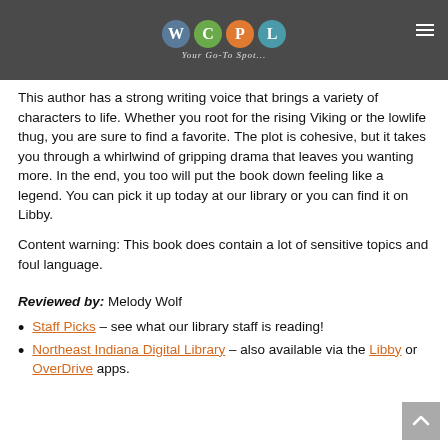[Figure (logo): WCPL logo with four colored circles (W, C, P, L) and tagline 'Your Go-To Spot...' on dark grey background]
This author has a strong writing voice that brings a variety of characters to life. Whether you root for the rising Viking or the lowlife thug, you are sure to find a favorite. The plot is cohesive, but it takes you through a whirlwind of gripping drama that leaves you wanting more. In the end, you too will put the book down feeling like a legend. You can pick it up today at our library or you can find it on Libby.
Content warning: This book does contain a lot of sensitive topics and foul language.
Reviewed by: Melody Wolf
Staff Picks – see what our library staff is reading!
Northeast Indiana Digital Library – also available via the Libby or OverDrive apps.